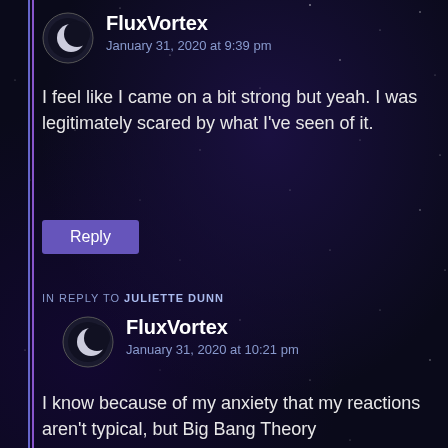[Figure (screenshot): Comment section screenshot with dark starry night sky background. Two comments by FluxVortex user with crescent moon avatar icon.]
FluxVortex
January 31, 2020 at 9:39 pm
I feel like I came on a bit strong but yeah. I was legitimately scared by what I've seen of it.
Reply
IN REPLY TO JULIETTE DUNN
FluxVortex
January 31, 2020 at 10:21 pm
I know because of my anxiety that my reactions aren't typical, but Big Bang Theory